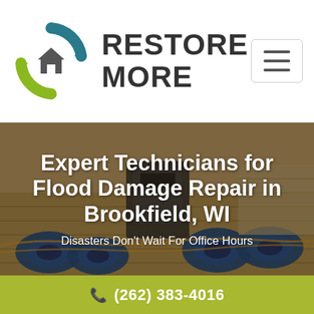[Figure (logo): Restore More logo with circular arrows and house icon in teal and green, beside bold text RESTORE MORE]
[Figure (photo): Background photo of water damage restoration equipment (blue air movers/fans) in a flooded room with wood floors and walls]
Expert Technicians for Flood Damage Repair in Brookfield, WI
Disasters Don't Wait For Office Hours
(262) 383-4016